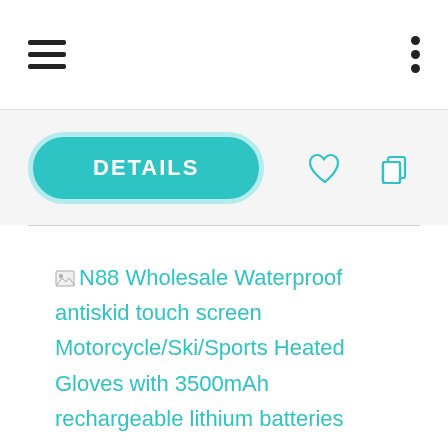Navigation bar with hamburger menu and dots menu
DETAILS
N88 Wholesale Waterproof antiskid touch screen Motorcycle/Ski/Sports Heated Gloves with 3500mAh rechargeable lithium batteries